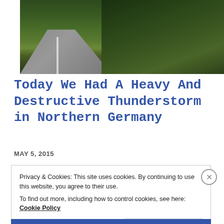[Figure (photo): Photograph of a road with heavy green foliage/bushes blown or fallen across it, taken during or after a storm in Northern Germany]
Today We Had A Heavy And Destructive Thunderstorm in Northern Germany
MAY 5, 2015
Privacy & Cookies: This site uses cookies. By continuing to use this website, you agree to their use.
To find out more, including how to control cookies, see here: Cookie Policy
Close and accept